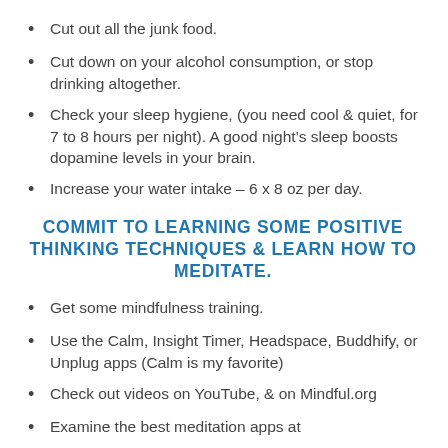Cut out all the junk food.
Cut down on your alcohol consumption, or stop drinking altogether.
Check your sleep hygiene, (you need cool & quiet, for 7 to 8 hours per night). A good night’s sleep boosts dopamine levels in your brain.
Increase your water intake – 6 x 8 oz per day.
COMMIT TO LEARNING SOME POSITIVE THINKING TECHNIQUES & LEARN HOW TO MEDITATE.
Get some mindfulness training.
Use the Calm, Insight Timer, Headspace, Buddhify, or Unplug apps (Calm is my favorite)
Check out videos on YouTube, & on Mindful.org
Examine the best meditation apps at